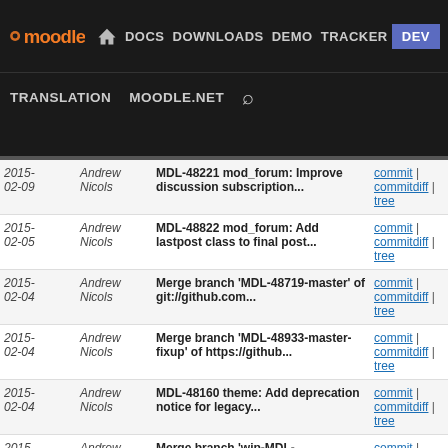Moodle — DOCS DOWNLOADS DEMO TRACKER DEV TRANSLATION MOODLE.NET
| Date | Author | Message | Links |
| --- | --- | --- | --- |
| 2015-02-09 | Andrew Nicols | MDL-48221 mod_forum: Improve discussion subscription... | commit | commitdiff | tree |
| 2015-02-05 | Andrew Nicols | MDL-48822 mod_forum: Add lastpost class to final post... | commit | commitdiff | tree |
| 2015-02-04 | Andrew Nicols | Merge branch 'MDL-48719-master' of git://github.com... | commit | commitdiff | tree |
| 2015-02-04 | Andrew Nicols | Merge branch 'MDL-48933-master-fixup' of https://github... | commit | commitdiff | tree |
| 2015-02-04 | Andrew Nicols | MDL-48160 theme: Add deprecation notice for legacy... | commit | commitdiff | tree |
| 2015-02-04 | Andrew Nicols | Merge branch 'wip-MDL-48160_master' of git://github... | commit | commitdiff | tree |
| 2015-02-03 | Andrew Nicols | Merge branch 'MDL-48865-master' of git://github.com... | commit | commitdiff | tree |
| 2015-02-03 | Andrew Nicols | Merge branch 'MDL-48920-master' of git://github.com... | commit | commitdiff | tree |
| 2015-02-03 | Andrew Nicols | Merge branch 'tgz_fixing' of https://github.com/tlevi... | commit | commitdiff | tree |
| 2015-02-03 | Andrew Nicols | Merge branch 'MDL-48989-master' of git://github.com... | commit | commitdiff | tree |